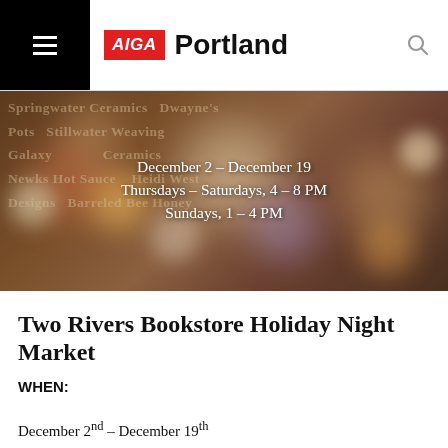AIGA Portland
[Figure (photo): Bokeh holiday lights background image with text overlay showing event dates: December 2 – December 19, Thursdays – Saturdays, 4 – 8 PM, Sundays, 1 – 4 PM. Background vendor names: Springwater Ceramics, Dwayne's Pots, Stillwater Weaving, Galaxy Ceramics, Newks Hot Sauce, Heidi West Designs, Barreled Bee Honey]
Two Rivers Bookstore Holiday Night Market
WHEN:
December 2nd – December 19th
TIME:
Thursdays – Saturdays, 4-8pm